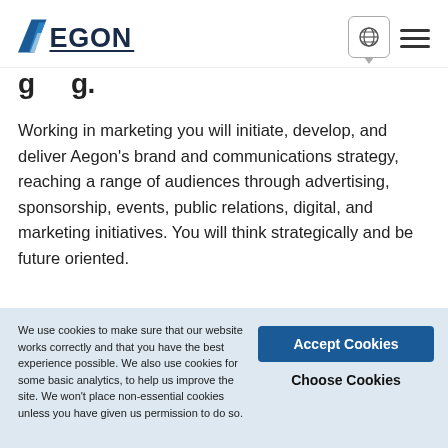AEGON
g g.
Working in marketing you will initiate, develop, and deliver Aegon’s brand and communications strategy, reaching a range of audiences through advertising, sponsorship, events, public relations, digital, and marketing initiatives. You will think strategically and be future oriented.
Product Development
We use cookies to make sure that our website works correctly and that you have the best experience possible. We also use cookies for some basic analytics, to help us improve the site. We won’t place non-essential cookies unless you have given us permission to do so.